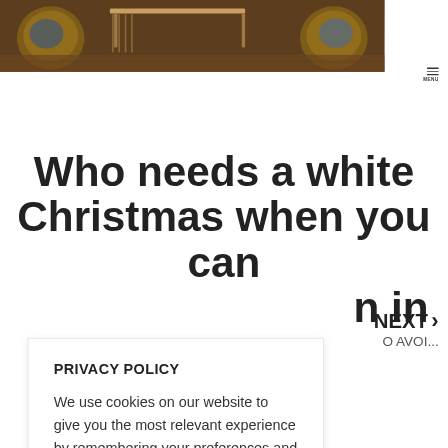[Figure (photo): Hero photo showing outdoor patio furniture including wicker chairs and a wooden table on a deck]
MENU
Who needs a white Christmas when you can n in
PRIVACY POLICY
We use cookies on our website to give you the most relevant experience by remembering your preferences and repeat visits. By clicking "Accept All", you consent to the use of ALL the cookies. However, you may visit "Cookie Settings" to provide a controlled consent. Read More
Cookie Settings   Accept All
NEXT › O AVOI...